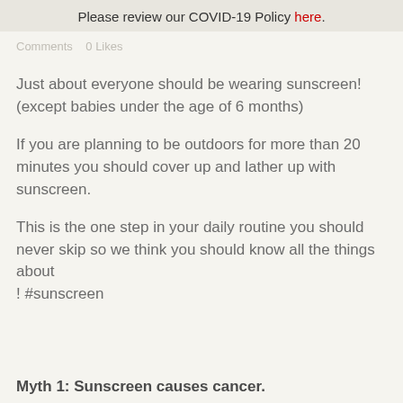Please review our COVID-19 Policy here.
Comments   0 Likes
Just about everyone should be wearing sunscreen!  (except babies under the age of 6 months)
If you are planning to be outdoors for more than 20 minutes you should cover up and lather up with sunscreen.
This is the one step in your daily routine you should never skip so we think you should know all the things about ! #sunscreen
Myth 1: Sunscreen causes cancer.